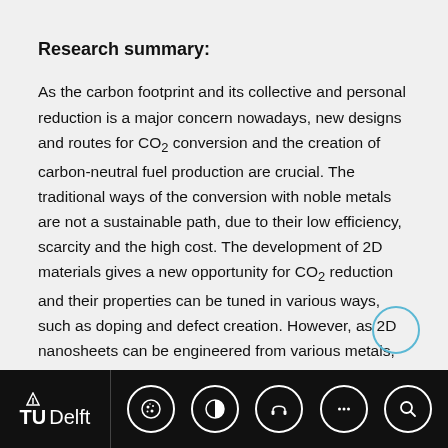Research summary:
As the carbon footprint and its collective and personal reduction is a major concern nowadays, new designs and routes for CO₂ conversion and the creation of carbon-neutral fuel production are crucial. The traditional ways of the conversion with noble metals are not a sustainable path, due to their low efficiency, scarcity and the high cost. The development of 2D materials gives a new opportunity for CO₂ reduction and their properties can be tuned in various ways, such as doping and defect creation. However, as 2D nanosheets can be engineered from various metals, carbides, nitrides etc., the optimization of the material properties for a specific
TU Delft [footer navigation bar with icons]